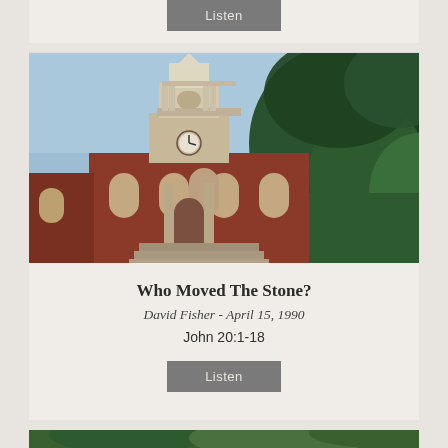[Figure (photo): Button area at top of page showing a gray 'Listen' button on a light beige/cream background]
[Figure (photo): Photograph of a red brick church with a white steeple and clock, photographed from below looking up, with green trees in the background and blue sky]
Who Moved The Stone?
David Fisher - April 15, 1990
John 20:1-18
[Figure (other): Gray 'Listen' button]
[Figure (photo): Partial view of another church photograph at the bottom of the page, showing green trees]